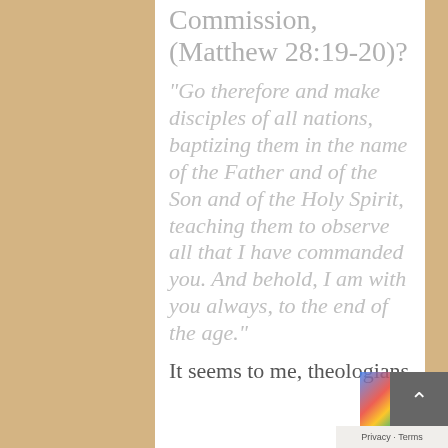Commission, (Matthew 28:19-20)?
“Go therefore and make disciples of all nations, baptizing them in the name of the Father and of the Son and of the Holy Spirit, teaching them to observe all that I have commanded you. And behold, I am with you always, to the end of the age.”
It seems to me, theologians